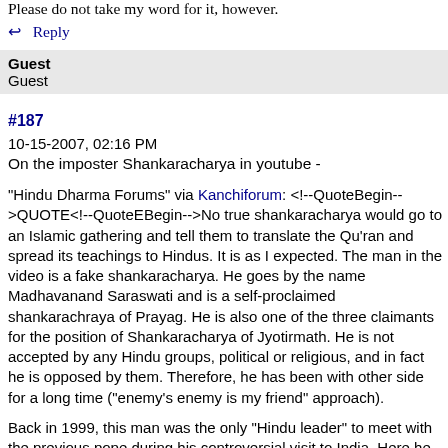Please do not take my word for it, however.
↩ Reply
Guest
Guest
#187
10-15-2007, 02:16 PM
On the imposter Shankaracharya in youtube -
"Hindu Dharma Forums" via Kanchiforum: <!--QuoteBegin-->QUOTE<!--QuoteEBegin-->No true shankaracharya would go to an Islamic gathering and tell them to translate the Qu'ran and spread its teachings to Hindus. It is as I expected. The man in the video is a fake shankaracharya. He goes by the name Madhavanand Saraswati and is a self-proclaimed shankarachraya of Prayag. He is also one of the three claimants for the position of Shankaracharya of Jyotirmath. He is not accepted by any Hindu groups, political or religious, and in fact he is opposed by them. Therefore, he has been with other side for a long time ("enemy's enemy is my friend" approach).

Back in 1999, this man was the only "Hindu leader" to meet with the previous pope during his controversial visit to India. Here he is pictured with the Pope.